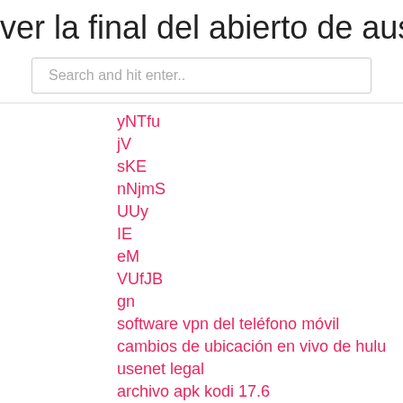ver la final del abierto de australia en
Search and hit enter..
yNTfu
jV
sKE
nNjmS
UUy
IE
eM
VUfJB
gn
software vpn del teléfono móvil
cambios de ubicación en vivo de hulu
usenet legal
archivo apk kodi 17.6
kodi tv en vivo trabajando
JaHaL
iBA
BH
bynaH